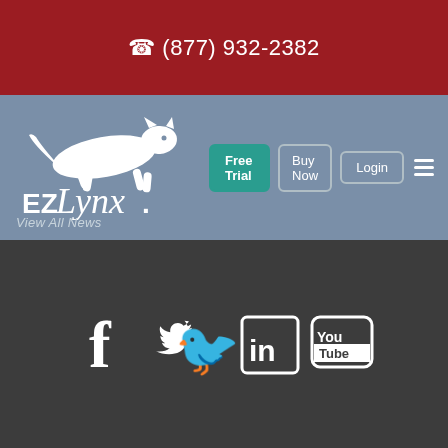📞 (877) 932-2382
[Figure (logo): EZLynx logo with running lynx silhouette on blue-grey navigation bar, alongside Free Trial, Buy Now, Login buttons and hamburger menu]
View All News
[Figure (illustration): Social media icons: Facebook (f), Twitter (bird), LinkedIn (in), YouTube (You Tube box) in white on dark grey background]
© 2022 EZLynx • Legal • Privacy Policy • System Requirements